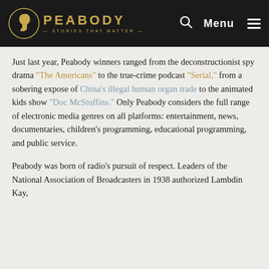PEABODY — STORIES THAT MATTER
Just last year, Peabody winners ranged from the deconstructionist spy drama "The Americans" to the true-crime podcast "Serial," from a sobering expose of China's illegal human organ trade to the animated kids show "Doc McStuffins." Only Peabody considers the full range of electronic media genres on all platforms: entertainment, news, documentaries, children's programming, educational programming, and public service.
Peabody was born of radio's pursuit of respect. Leaders of the National Association of Broadcasters in 1938 authorized Lambdin Kay,